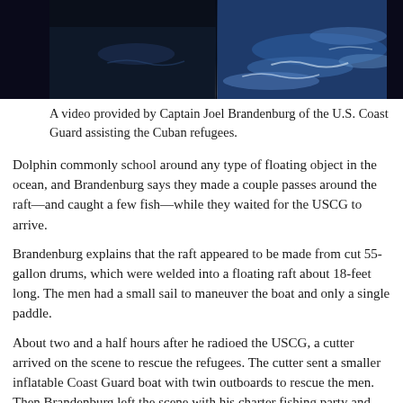[Figure (photo): A video still showing ocean water with dark sky/water on the left and right edges, and blue ocean waves visible in the center panel, split into two sub-frames.]
A video provided by Captain Joel Brandenburg of the U.S. Coast Guard assisting the Cuban refugees.
Dolphin commonly school around any type of floating object in the ocean, and Brandenburg says they made a couple passes around the raft—and caught a few fish—while they waited for the USCG to arrive.
Brandenburg explains that the raft appeared to be made from cut 55-gallon drums, which were welded into a floating raft about 18-feet long. The men had a small sail to maneuver the boat and only a single paddle.
About two and a half hours after he radioed the USCG, a cutter arrived on the scene to rescue the refugees. The cutter sent a smaller inflatable Coast Guard boat with twin outboards to rescue the men. Then Brandenburg left the scene with his charter fishing party and headed back to Marathon around 3 p.m. He recorded the event with several cell phone videos.